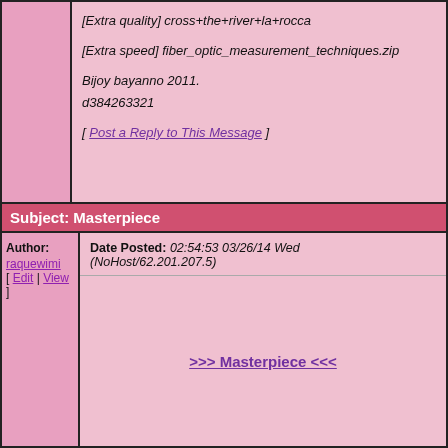[Extra quality] cross+the+river+la+rocca
[Extra speed] fiber_optic_measurement_techniques.zip
Bijoy bayanno 2011.
d384263321
[ Post a Reply to This Message ]
Subject: Masterpiece
Author: raquewimi [ Edit | View ]
Date Posted: 02:54:53 03/26/14 Wed (NoHost/62.201.207.5)
>>> Masterpiece <<<